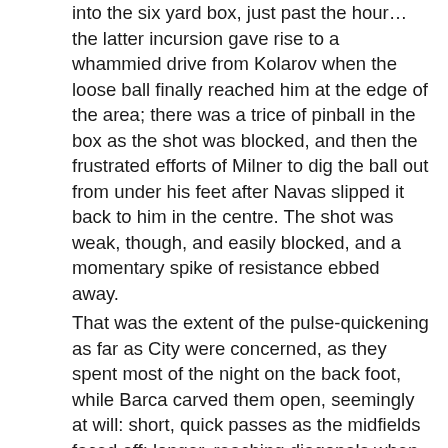into the six yard box, just past the hour…the latter incursion gave rise to a whammied drive from Kolarov when the loose ball finally reached him at the edge of the area; there was a trice of pinball in the box as the shot was blocked, and then the frustrated efforts of Milner to dig the ball out from under his feet after Navas slipped it back to him in the centre. The shot was weak, though, and easily blocked, and a momentary spike of resistance ebbed away.
That was the extent of the pulse-quickening as far as City were concerned, as they spent most of the night on the back foot, while Barca carved them open, seemingly at will: short, quick passes as the midfields faced off; longer, reaching diagonals when they hit with alacrity on the break: swift passing chains, these were, like sword-slashes – this way, that way – through the City lines, or plundering, cross-board bishop moves in a game of chess, or winning tic-tac-toe lines dashed off dizzily across the surface of the pitch. Mascherano, tonight, the point man and instigator in front of the defence; Iniesta the unerring